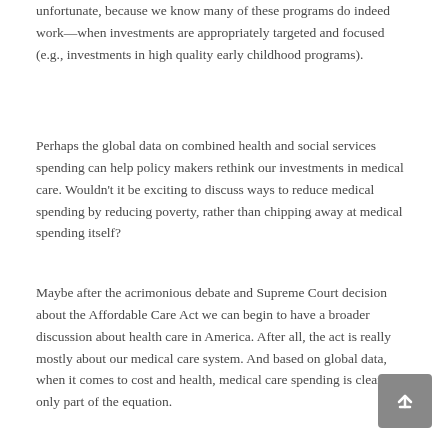unfortunate, because we know many of these programs do indeed work—when investments are appropriately targeted and focused (e.g., investments in high quality early childhood programs).
Perhaps the global data on combined health and social services spending can help policy makers rethink our investments in medical care. Wouldn't it be exciting to discuss ways to reduce medical spending by reducing poverty, rather than chipping away at medical spending itself?
Maybe after the acrimonious debate and Supreme Court decision about the Affordable Care Act we can begin to have a broader discussion about health care in America. After all, the act is really mostly about our medical care system. And based on global data, when it comes to cost and health, medical care spending is clearly only part of the equation.